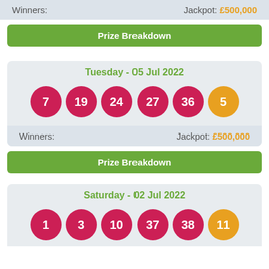Winners:  Jackpot: £500,000
Prize Breakdown
Tuesday - 05 Jul 2022
[Figure (infographic): Lottery balls for Tuesday 05 Jul 2022: 7, 19, 24, 27, 36 (red), 5 (gold bonus ball)]
Winners:  Jackpot: £500,000
Prize Breakdown
Saturday - 02 Jul 2022
[Figure (infographic): Lottery balls for Saturday 02 Jul 2022: 1, 3, 10, 37, 38 (red), 11 (gold bonus ball)]